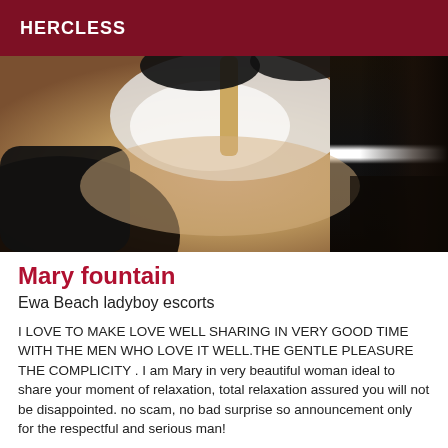HERCLESS
[Figure (photo): Close-up photo of a person lying down, showing skin tones with dark stockings and white fabric clothing, warm lighting]
Mary fountain
Ewa Beach ladyboy escorts
I LOVE TO MAKE LOVE WELL SHARING IN VERY GOOD TIME WITH THE MEN WHO LOVE IT WELL.THE GENTLE PLEASURE THE COMPLICITY . I am Mary in very beautiful woman ideal to share your moment of relaxation, total relaxation assured you will not be disappointed. no scam, no bad surprise so announcement only for the respectful and serious man!